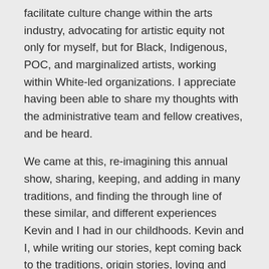facilitate culture change within the arts industry, advocating for artistic equity not only for myself, but for Black, Indigenous, POC, and marginalized artists, working within White-led organizations. I appreciate having been able to share my thoughts with the administrative team and fellow creatives, and be heard.
We came at this, re-imagining this annual show, sharing, keeping, and adding in many traditions, and finding the through line of these similar, and different experiences Kevin and I had in our childhoods. Kevin and I, while writing our stories, kept coming back to the traditions, origin stories, loving and funny moments, lessons…we've received from our loved ones. These are same gifts that we get to share with you all, the audience, and each other on stage.  It's a testament of the song I composed, The